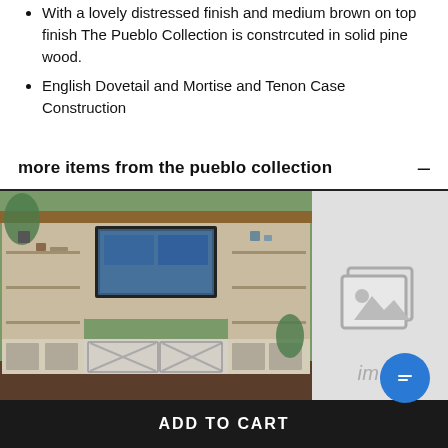With a lovely distressed finish and medium brown on top finish The Pueblo Collection is constrcuted in solid pine wood.
English Dovetail and Mortise and Tenon Case Construction
more items from the pueblo collection
[Figure (photo): Pueblo Collection entertainment center with TV, bookshelves and cabinet doors in a living room setting with green wall]
[Figure (photo): Placeholder image with image icon and 'imag' text visible]
ADD TO CART